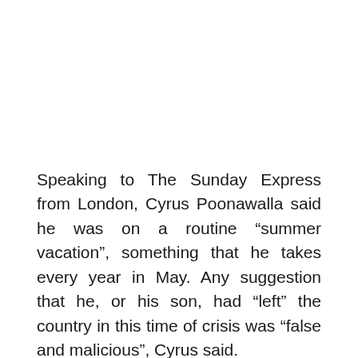Speaking to The Sunday Express from London, Cyrus Poonawalla said he was on a routine “summer vacation”, something that he takes every year in May. Any suggestion that he, or his son, had “left” the country in this time of crisis was “false and malicious”, Cyrus said.
Cyrus Poonawalla, chairman of the Poonawalla Group which includes vaccine-maker Serum Institute of India, has joined his son Adar Poonawalla and his family in London a few days ago but rejected suggestions that he had “left” the country.